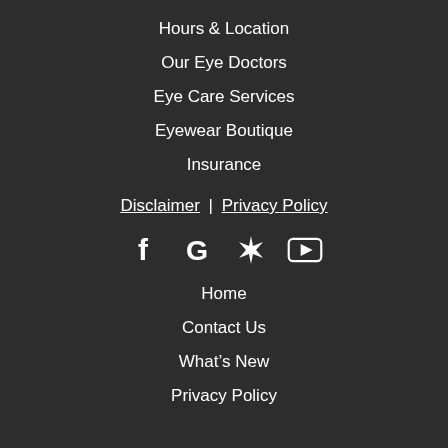Hours & Location
Our Eye Doctors
Eye Care Services
Eyewear Boutique
Insurance
Disclaimer | Privacy Policy
[Figure (infographic): Social media icons: Facebook, Google, Yelp, YouTube]
Home
Contact Us
What's New
Privacy Policy